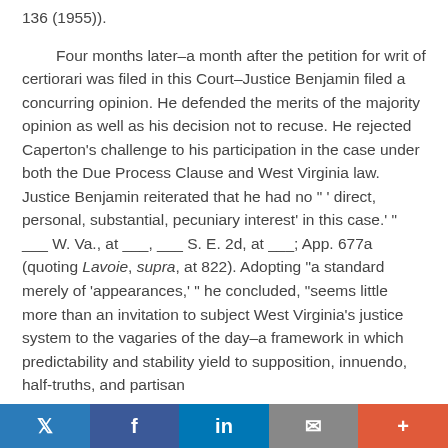136 (1955)).
Four months later–a month after the petition for writ of certiorari was filed in this Court–Justice Benjamin filed a concurring opinion. He defended the merits of the majority opinion as well as his decision not to recuse. He rejected Caperton's challenge to his participation in the case under both the Due Process Clause and West Virginia law. Justice Benjamin reiterated that he had no " ' direct, personal, substantial, pecuniary interest' in this case.' " ___ W. Va., at ___, ___ S. E. 2d, at ___; App. 677a (quoting Lavoie, supra, at 822). Adopting "a standard merely of 'appearances,' " he concluded, "seems little more than an invitation to subject West Virginia's justice system to the vagaries of the day–a framework in which predictability and stability yield to supposition, innuendo, half-truths, and partisan
Twitter | Facebook | LinkedIn | Email | More